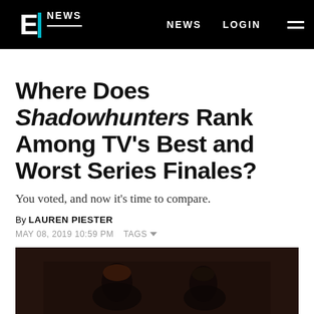E NEWS | NEWS | LOGIN
Where Does Shadowhunters Rank Among TV's Best and Worst Series Finales?
You voted, and now it's time to compare.
By LAUREN PIESTER
MAY 08, 2019 10:59 PM  TAGS
[Figure (photo): Dark photo of two people, partially visible, dim lighting]